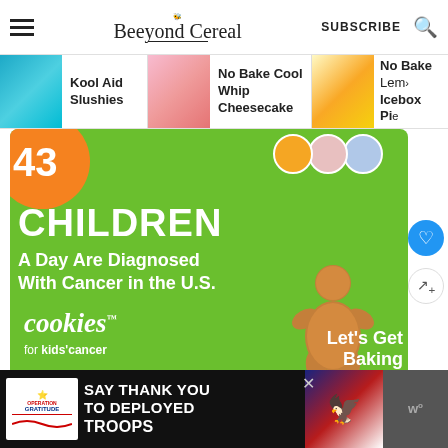[Figure (screenshot): Beeyond Cereal website header with hamburger menu, logo, SUBSCRIBE text, and search icon]
[Figure (screenshot): Navigation strip showing Kool Aid Slushies, No Bake Cool Whip Cheesecake, and No Bake Lemon Icebox Pie with thumbnail images]
[Figure (infographic): Cookies for Kids Cancer advertisement on green background: '43 CHILDREN A Day Are Diagnosed With Cancer in the U.S.' with cookie imagery and 'Let's Get Baking' text]
WHAT'S NEXT →
No Bake Lemon Iceb...
[Figure (infographic): Operation Gratitude ad: SAY THANK YOU TO DEPLOYED TROOPS on black background with patriotic imagery]